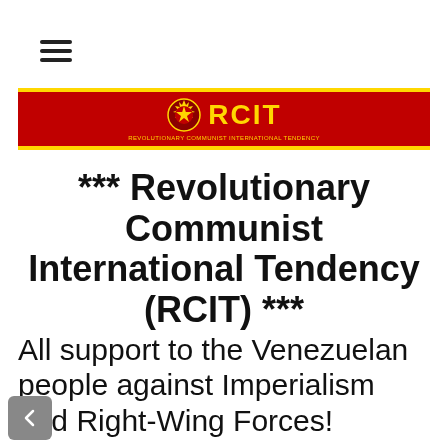[Figure (logo): Hamburger menu icon (three horizontal lines)]
[Figure (logo): RCIT banner logo — red background with gold star/gear emblem and RCIT text in gold, subtitle text below]
*** Revolutionary Communist International Tendency (RCIT) ***
All support to the Venezuelan people against Imperialism and Right-Wing Forces!